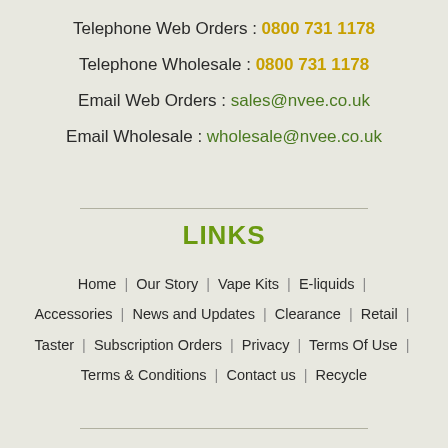Telephone Web Orders : 0800 731 1178
Telephone Wholesale : 0800 731 1178
Email Web Orders : sales@nvee.co.uk
Email Wholesale : wholesale@nvee.co.uk
LINKS
Home | Our Story | Vape Kits | E-liquids | Accessories | News and Updates | Clearance | Retail | Taster | Subscription Orders | Privacy | Terms Of Use | Terms & Conditions | Contact us | Recycle